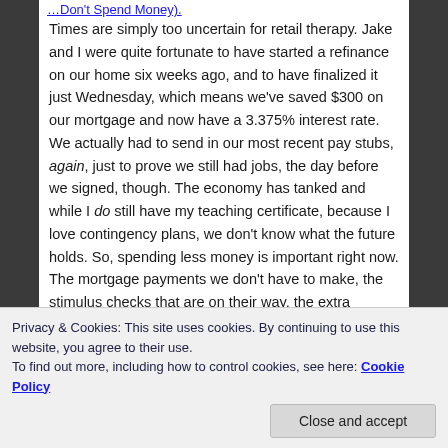…Don't Spend Money).
Times are simply too uncertain for retail therapy. Jake and I were quite fortunate to have started a refinance on our home six weeks ago, and to have finalized it just Wednesday, which means we've saved $300 on our mortgage and now have a 3.375% interest rate. We actually had to send in our most recent pay stubs, again, just to prove we still had jobs, the day before we signed, though. The economy has tanked and while I do still have my teaching certificate, because I love contingency plans, we don't know what the future holds. So, spending less money is important right now. The mortgage payments we don't have to make, the stimulus checks that are on their way, the extra paychecks we're expecting in a few
Privacy & Cookies: This site uses cookies. By continuing to use this website, you agree to their use.
To find out more, including how to control cookies, see here: Cookie Policy